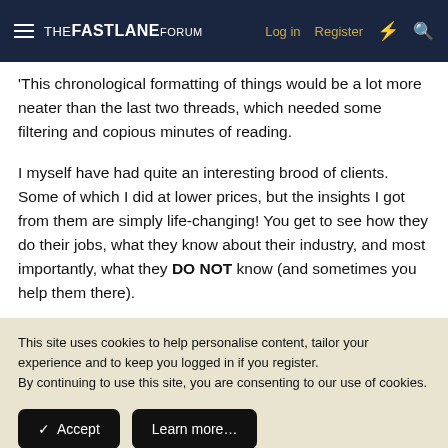THE FASTLANE FORUM | Log in | Register
This chronological formatting of things would be a lot more neater than the last two threads, which needed some filtering and copious minutes of reading.
I myself have had quite an interesting brood of clients. Some of which I did at lower prices, but the insights I got from them are simply life-changing! You get to see how they do their jobs, what they know about their industry, and most importantly, what they DO NOT know (and sometimes you help them there).
This site uses cookies to help personalise content, tailor your experience and to keep you logged in if you register.
By continuing to use this site, you are consenting to our use of cookies.
✓ Accept   Learn more…